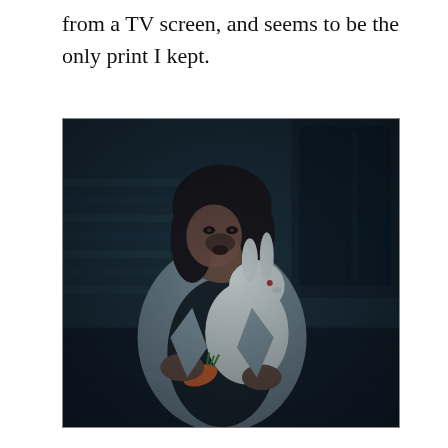from a TV screen, and seems to be the only print I kept.
[Figure (photo): A woman with dark hair and a weathered face sits on a dark wooden porch floor against siding and a door, holding a white rabbit and a carrot. She wears a grey blazer over a dark shirt. The image has a dark, moody, teal-toned color palette reminiscent of a Polaroid or film photograph.]